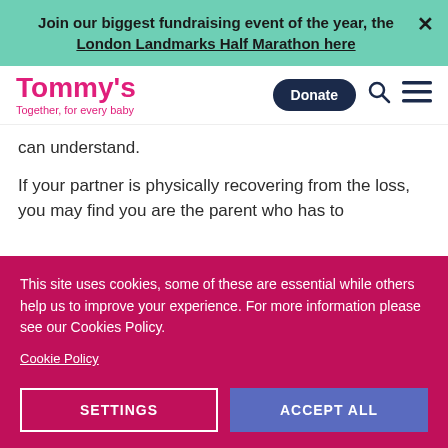Join our biggest fundraising event of the year, the London Landmarks Half Marathon here
[Figure (logo): Tommy's logo with tagline 'Together, for every baby' and navigation bar with Donate button, search icon, and menu icon]
can understand.
If your partner is physically recovering from the loss, you may find you are the parent who has to
This site uses cookies, some of these are essential while others help us to improve your experience. For more information please see our Cookies Policy.
Cookie Policy
SETTINGS
ACCEPT ALL